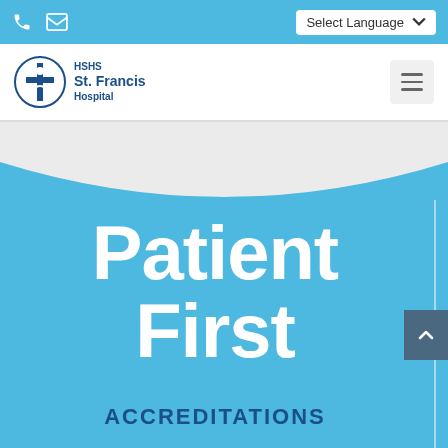HSHS St. Francis Hospital - Select Language
[Figure (screenshot): HSHS St. Francis Hospital website screenshot showing navigation bar with logo, phone and email icons, language selector, hamburger menu, a curved blue banner section with the text 'Patient First' in large white bold font, and 'ACCREDITATIONS' below in dark blue capitals on a light blue background.]
Patient First
ACCREDITATIONS